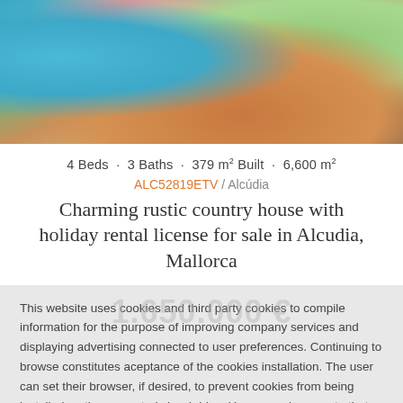[Figure (photo): Aerial view of a rustic country house with a swimming pool, gardens with pink flowers, and terracotta/stone landscaping in Mallorca]
4 Beds · 3 Baths · 379 m² Built · 6,600 m²
ALC52819ETV / Alcúdia
Charming rustic country house with holiday rental license for sale in Alcudia, Mallorca
1.650.000 €
This website uses cookies and third party cookies to compile information for the purpose of improving company services and displaying advertising connected to user preferences. Continuing to browse constitutes aceptance of the cookies installation. The user can set their browser, if desired, to prevent cookies from being installed on the computer's hard drive. However, please note that this may cause difficulties when browsing on the website  Accept cookies  More Info